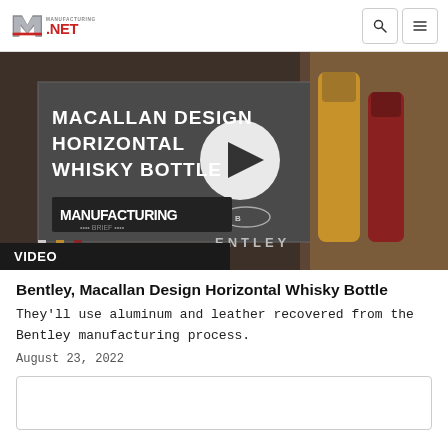Manufacturing.NET
[Figure (screenshot): Video thumbnail showing Macallan Design Horizontal Whisky Bottle with Bentley branding, Macallan whisky bottles, a play button overlay, and Manufacturing branding. Carousel dots visible. 'VIDEO' label bar at bottom left.]
Bentley, Macallan Design Horizontal Whisky Bottle
They'll use aluminum and leather recovered from the Bentley manufacturing process.
August 23, 2022